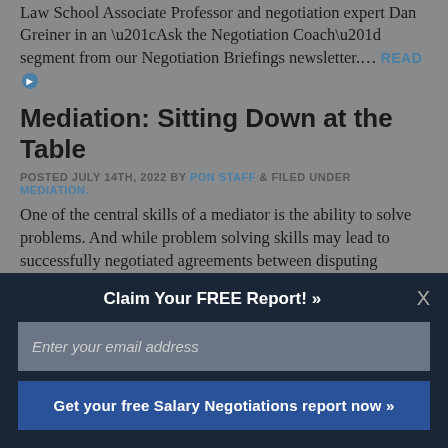Law School Associate Professor and negotiation expert Dan Greiner in an “Ask the Negotiation Coach” segment from our Negotiation Briefings newsletter.... READ ►
Mediation: Sitting Down at the Table
POSTED JULY 14TH, 2022 BY PON STAFF & FILED UNDER MEDIATION.
One of the central skills of a mediator is the ability to solve problems. And while problem solving skills may lead to successfully negotiated agreements between disputing parties, an effective mediator also has to get each side to agree to sit down at the bargaining table in
Claim Your FREE Report! »
Enter your email address
Get your free Salary Negotiations report now »